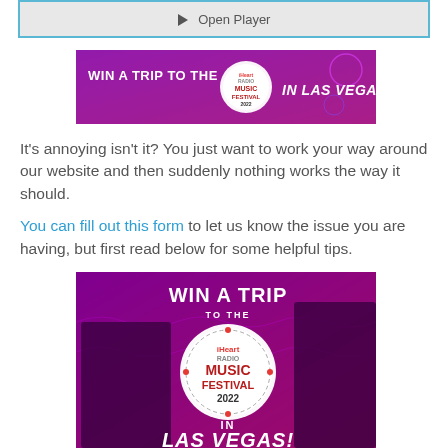[Figure (screenshot): Open Player button with play icon, light gray background with blue border]
[Figure (photo): iHeartRadio Music Festival 2022 banner ad - WIN A TRIP TO THE MUSIC FESTIVAL IN LAS VEGAS! on purple background]
It's annoying isn't it? You just want to work your way around our website and then suddenly nothing works the way it should.
You can fill out this form to let us know the issue you are having, but first read below for some helpful tips.
[Figure (photo): iHeartRadio Music Festival 2022 large banner - WIN A TRIP TO THE iHeart Radio MUSIC FESTIVAL 2022 IN LAS VEGAS! with celebrity photos on purple background]